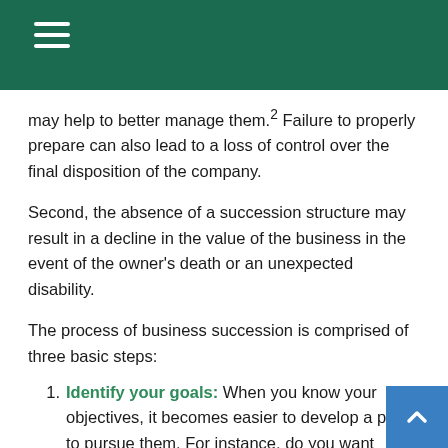may help to better manage them.² Failure to properly prepare can also lead to a loss of control over the final disposition of the company.
Second, the absence of a succession structure may result in a decline in the value of the business in the event of the owner's death or an unexpected disability.
The process of business succession is comprised of three basic steps:
Identify your goals: When you know your objectives, it becomes easier to develop a plan to pursue them. For instance, do you want future income from the business for you and your spouse? What level of involvement do you want in the business? Do you want to create a legacy for your